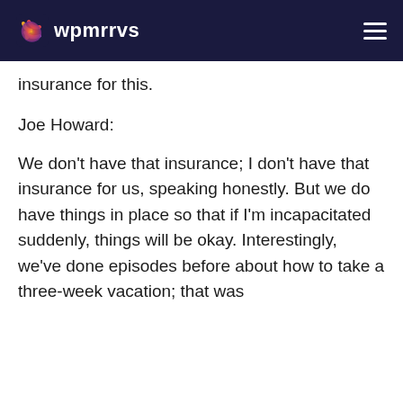wpmrrvs
insurance for this.
Joe Howard:
We don't have that insurance; I don't have that insurance for us, speaking honestly. But we do have things in place so that if I'm incapacitated suddenly, things will be okay. Interestingly, we've done episodes before about how to take a three-week vacation; that was